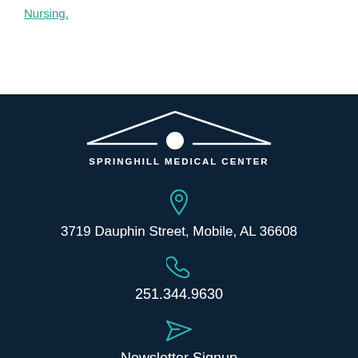Nursing.
[Figure (logo): Springhill Medical Center logo — white roofline with circle icon above text SPRINGHILL MEDICAL CENTER on dark navy background]
3719 Dauphin Street, Mobile, AL 36608
251.344.9630
Newsletter Signup